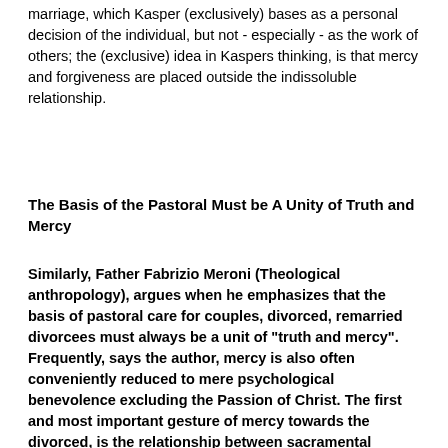marriage, which Kasper (exclusively) bases as a personal decision of the individual, but not - especially - as the work of others; the (exclusive) idea in Kaspers thinking, is that mercy and forgiveness are placed outside the indissoluble relationship.
The Basis of the Pastoral Must be A Unity of Truth and Mercy
Similarly, Father Fabrizio Meroni (Theological anthropology), argues when he emphasizes that the basis of pastoral care for couples, divorced, remarried divorcees must always be a unit of "truth and mercy". Frequently, says the author, mercy is also often conveniently reduced to mere psychological benevolence excluding the Passion of Christ. The first and most important gesture of mercy towards the divorced, is the relationship between sacramental marriage and the pain of their breakup, which is an intensive participation in the mystery of Christ's